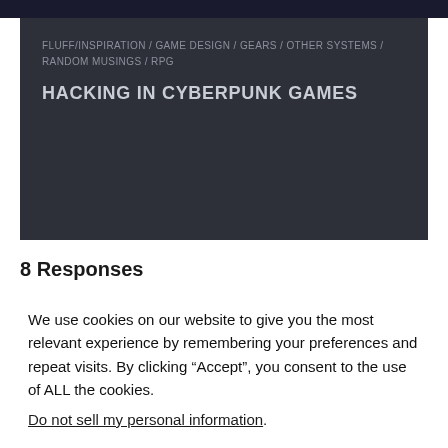FLUFF/INSPIRATION / GAME DESIGN / GEARS / OTHER SYSTEMS / RANDOM MUSINGS / RPG
HACKING IN CYBERPUNK GAMES
8 Responses
We use cookies on our website to give you the most relevant experience by remembering your preferences and repeat visits. By clicking “Accept”, you consent to the use of ALL the cookies.
Do not sell my personal information.